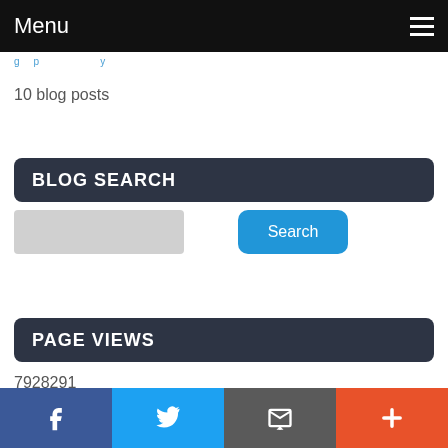Menu
10 blog posts
BLOG SEARCH
[Figure (other): Search input field (light grey rectangle) and blue Search button]
PAGE VIEWS
7928291
Facebook, Twitter, Email, Plus social share bar